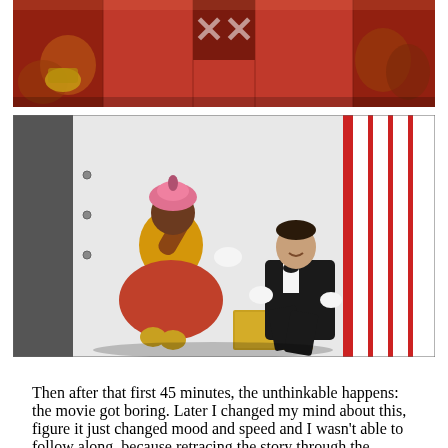[Figure (photo): Top photo: scene with multiple people in red/orange costumes or outfits, red draped fabric background, with a cross/emblem visible at top center.]
[Figure (photo): Bottom photo: a small person dressed in a gold top, pink turban, and orange/red puffy skirt with gold shoes (genie/circus costume), performing or posing next to a man in a black tuxedo with white gloves and bow tie, both in front of a red and white striped curtain backdrop.]
Then after that first 45 minutes, the unthinkable happens: the movie got boring. Later I changed my mind about this, figure it just changed mood and speed and I wasn't able to follow along, because retracing the story through the million screenshots I took, it sure